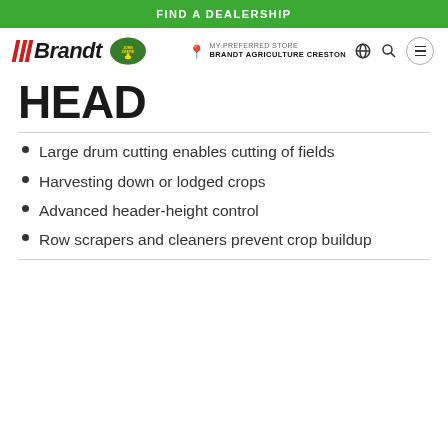FIND A DEALERSHIP
[Figure (logo): Brandt and John Deere logos in navigation bar]
MY PREFERRED STORE BRANDT AGRICULTURE CRESTON
HEAD
Large drum cutting enables cutting of fields
Harvesting down or lodged crops
Advanced header-height control
Row scrapers and cleaners prevent crop buildup